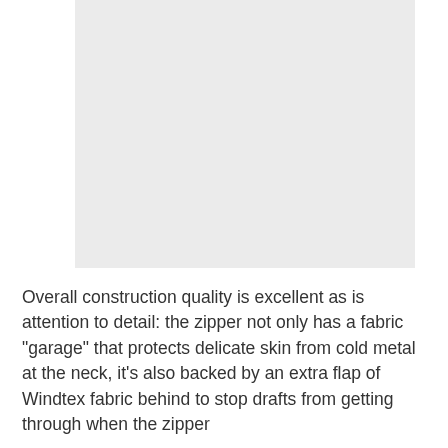[Figure (photo): Light gray rectangular placeholder image occupying the upper portion of the page]
Overall construction quality is excellent as is attention to detail: the zipper not only has a fabric "garage" that protects delicate skin from cold metal at the neck, it's also backed by an extra flap of Windtex fabric behind to stop drafts from getting through when the zipper